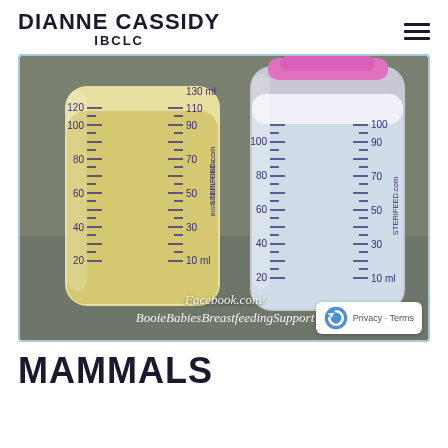DIANNE CASSIDY IBCLC
[Figure (photo): Two breast milk storage bottles side by side. Left bottle is full of yellowish colostrum/hindmilk up to about 130ml, marked with measurements: 10ml, 30, 50, 70, 90, 110, 130ml on right side and 20, 40, 60, 80, 100, 120 on left side. Brand: STERIFEED.com BISPHENOL A FREE. Right bottle contains white/blue foremilk up to about 100ml, marked 10ml, 30, 50, 70, 90, 100 on right and 20, 40, 60, 80 on left. Both are clear plastic bottles with a pink cap on the right bottle. Watermark: Facebook.com/BooieBabiesBreastfeedingSupport]
MAMMALS